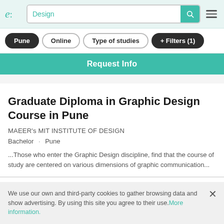e: Design [search bar] [menu icon]
Pune
Online
Type of studies
+ Filters (1)
Request Info
Graduate Diploma in Graphic Design Course in Pune
MAEER's MIT INSTITUTE OF DESIGN
Bachelor · Pune
...Those who enter the Graphic Design discipline, find that the course of study are centered on various dimensions of graphic communication...
We use our own and third-party cookies to gather browsing data and show advertising. By using this site you agree to their use. More information.